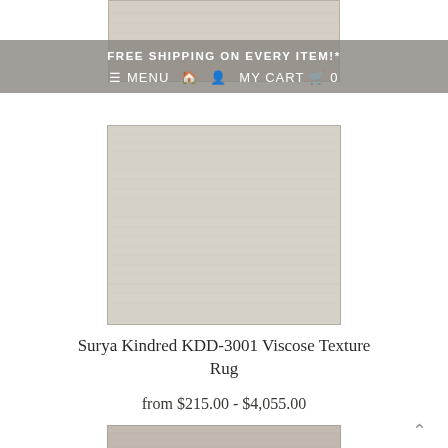[Figure (photo): Top portion of a light beige/cream textured viscose rug, partially visible at top of page]
FREE SHIPPING ON EVERY ITEM!*
≡ MENU  🏠  👤  MY CART  🛒  0
[Figure (photo): Main product image of a light beige/cream Surya Kindred KDD-3001 Viscose Texture Rug with horizontal woven texture lines]
Surya Kindred KDD-3001 Viscose Texture Rug
from $215.00 - $4,055.00
[Figure (photo): Bottom thumbnail/partial view of a darker beige textured rug]